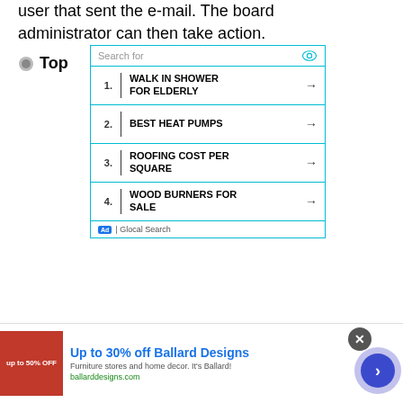user that sent the e-mail. The board administrator can then take action.
Top
[Figure (screenshot): An ad widget showing a search interface with four items: 1. WALK IN SHOWER FOR ELDERLY, 2. BEST HEAT PUMPS, 3. ROOFING COST PER SQUARE, 4. WOOD BURNERS FOR SALE. Each item has a number, vertical separator, bold uppercase text, and a right arrow. Footer shows 'Ad | Glocal Search'.]
[Figure (screenshot): A bottom banner advertisement for Ballard Designs: 'Up to 30% off Ballard Designs', 'Furniture stores and home decor. It's Ballard!', 'ballarddesigns.com'. Includes a red product image on the left, a close button, and a circular blue navigation button on the right.]